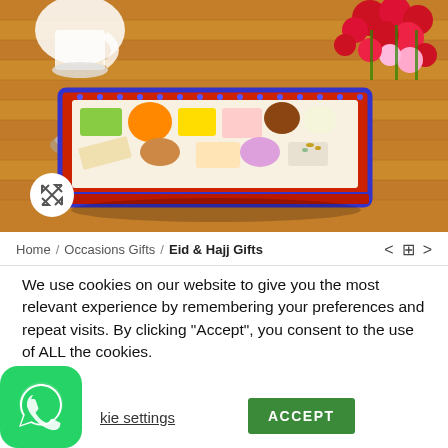[Figure (photo): Product photo of an assorted Indian sweets gift box (tin box with red and blue border) placed on a wooden table, with red roses and other flowers in the top right, and a white vase/jug in the top left. A circular expand/zoom icon is visible in the bottom left of the image.]
Home / Occasions Gifts / Eid & Hajj Gifts
We use cookies on our website to give you the most relevant experience by remembering your preferences and repeat visits. By clicking “Accept”, you consent to the use of ALL the cookies.
kie settings
ACCEPT